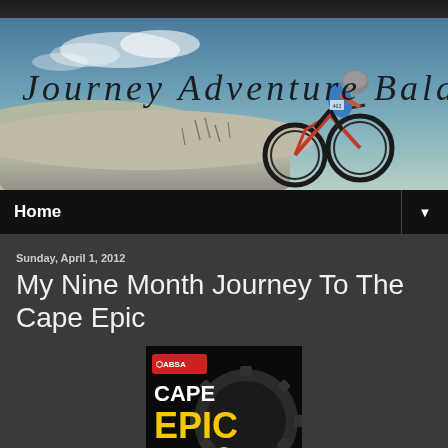[Figure (photo): Blog header banner showing mountain biker on rocky terrain with sky background and text 'Journey Adventure Balance' in cursive script]
Home ▼
Sunday, April 1, 2012
My Nine Month Journey To The Cape Epic
[Figure (photo): ABSA Cape Epic event logo/poster showing a cyclist with large gear graphic and bold yellow 'EPIC' text on black background]